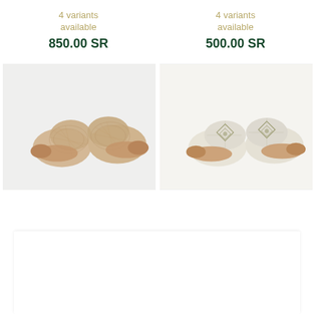4 variants
available
850.00 SR
4 variants
available
500.00 SR
[Figure (photo): Top-down view of a pair of beige woven espadrille-style slip-on shoes on a white background]
[Figure (photo): Top-down view of a pair of cream/ivory patterned slip-on shoes with geometric diamond motif on a white background]